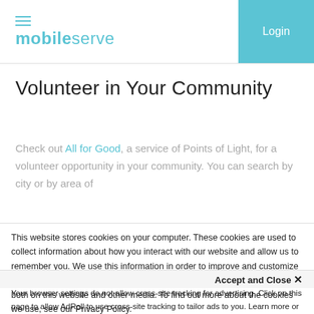[Figure (logo): MobileServe logo with hamburger menu icon and teal branding text]
Login
Volunteer in Your Community
Check out All for Good, a service of Points of Light, for a volunteer opportunity in your community. You can search by city or by area of
This website stores cookies on your computer. These cookies are used to collect information about how you interact with our website and allow us to remember you. We use this information in order to improve and customize your browsing experience and for analytics and metrics about our visitors both on this website and other media. To find out more about the cookies we use, see our Privacy Policy.
Accept and Close ✕
Your browser settings do not allow cross-site tracking for advertising. Click on this page to allow AdRoll to use cross-site tracking to tailor ads to you. Learn more or opt out of this AdRoll tracking by clicking here. This message only appears once.